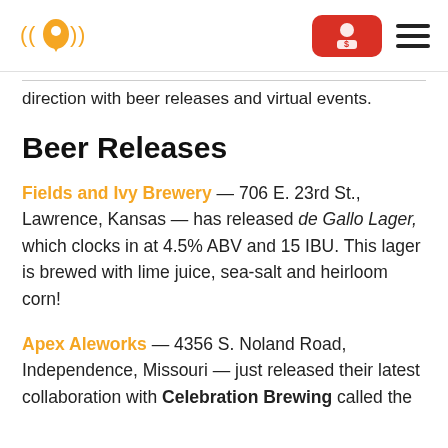Logo and navigation header
direction with beer releases and virtual events.
Beer Releases
Fields and Ivy Brewery — 706 E. 23rd St., Lawrence, Kansas — has released de Gallo Lager, which clocks in at 4.5% ABV and 15 IBU. This lager is brewed with lime juice, sea-salt and heirloom corn!
Apex Aleworks — 4356 S. Noland Road, Independence, Missouri — just released their latest collaboration with Celebration Brewing called the